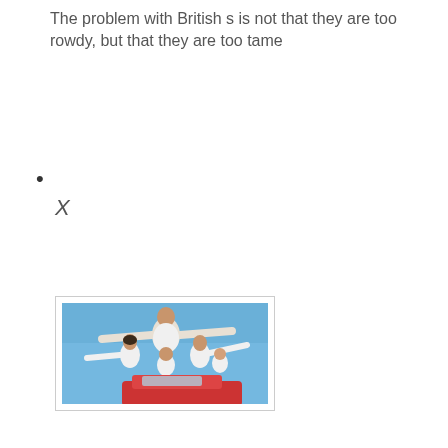The problem with British s is not that they are too rowdy, but that they are too tame
•
[Figure (photo): A family of five people in white shirts with arms outstretched joyfully against a blue sky, riding on a red vehicle]